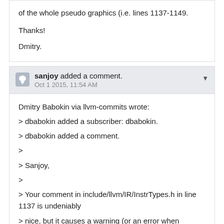of the whole pseudo graphics (i.e. lines 1137-1149.
Thanks!
Dmitry.
sanjoy added a comment. Oct 1 2015, 11:54 AM
Dmitry Babokin via llvm-commits wrote:
> dbabokin added a subscriber: dbabokin.
> dbabokin added a comment.
>
> Sanjoy,
>
> Your comment in include/llvm/IR/InstrTypes.h in line 1137 is undeniably
> nice, but it causes a warning (or an error when building with "-Wall"):
>
> "error: multi-line comment [-Werror=comment]"